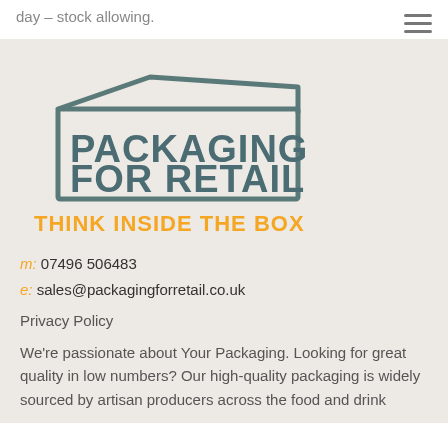day – stock allowing.
[Figure (logo): Packaging For Retail logo — a hand-drawn box outline with the text PACKAGING FOR RETAIL inside, and THINK INSIDE THE BOX as an orange tagline below]
m: 07496 506483
e: sales@packagingforretail.co.uk
Privacy Policy
We're passionate about Your Packaging. Looking for great quality in low numbers? Our high-quality packaging is widely sourced by artisan producers across the food and drink